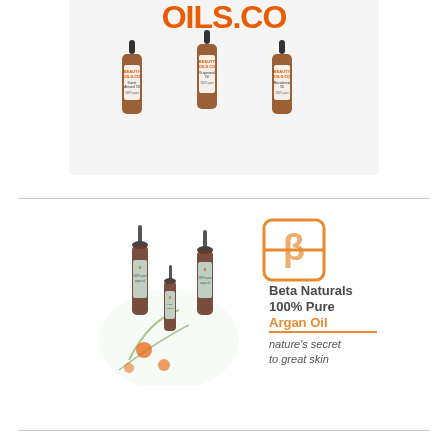[Figure (illustration): Beauty Oils Co advertisement showing three amber bottles of Sweet Almond Oil, Grapeseed Oil, and Macadamia Oil (100% pure), with the OILS.CO logo in orange and dark text at the top.]
[Figure (illustration): Beta Naturals advertisement showing three dropper bottles of 100% Pure Argan Oil with floral/botanical decoration, alongside the Beta Naturals logo and text: 'Beta Naturals 100% Pure Argan Oil — nature's secret to great skin'.]